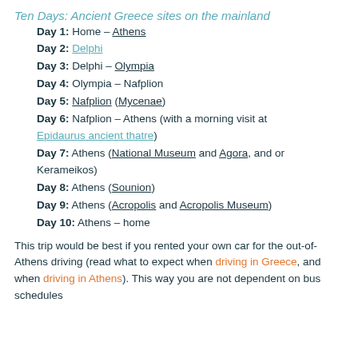Ten Days: Ancient Greece sites on the mainland
Day 1: Home – Athens
Day 2: Delphi
Day 3: Delphi – Olympia
Day 4: Olympia – Nafplion
Day 5: Nafplion (Mycenae)
Day 6: Nafplion – Athens (with a morning visit at Epidaurus ancient thatre)
Day 7: Athens (National Museum and Agora, and or Kerameikos)
Day 8: Athens (Sounion)
Day 9: Athens (Acropolis and Acropolis Museum)
Day 10: Athens – home
This trip would be best if you rented your own car for the out-of-Athens driving (read what to expect when driving in Greece, and when driving in Athens). This way you are not dependent on bus schedules